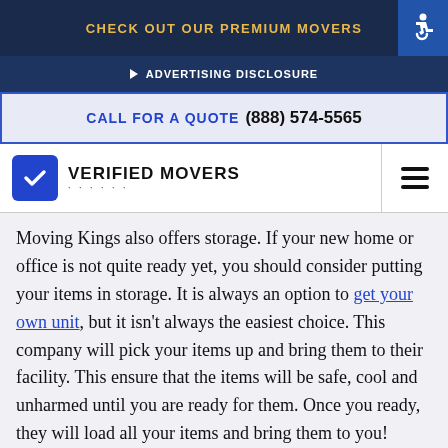CHECK OUT OUR PREMIUM MOVERS
ADVERTISING DISCLOSURE
CALL FOR A QUOTE (888) 574-5565
VERIFIED MOVERS
Moving Kings also offers storage. If your new home or office is not quite ready yet, you should consider putting your items in storage. It is always an option to get your own unit, but it isn't always the easiest choice. This company will pick your items up and bring them to their facility. This ensure that the items will be safe, cool and unharmed until you are ready for them. Once you ready, they will load all your items and bring them to you!